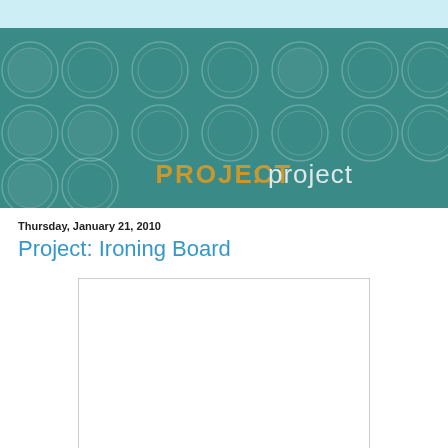[Figure (illustration): Blog header banner with teal background, decorative circles pattern, and text 'PROJECT: project' in gold and light colors]
Thursday, January 21, 2010
Project: Ironing Board
[Figure (photo): White rectangular image placeholder with light border]